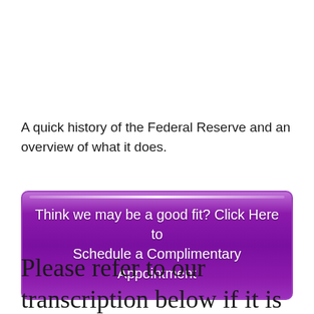A quick history of the Federal Reserve and an overview of what it does.
[Figure (other): Purple button with text: Think we may be a good fit? Click Here to Schedule a Complimentary Appointment]
Please refer to our transcription below if it is easier and/or more